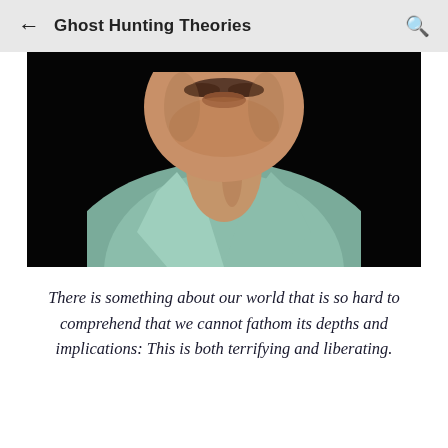Ghost Hunting Theories
[Figure (photo): Close-up photograph of an older man with a mustache wearing a light green/teal collared shirt against a dark black background. The image shows the lower portion of his face, neck, and upper chest area.]
There is something about our world that is so hard to comprehend that we cannot fathom its depths and implications: This is both terrifying and liberating.